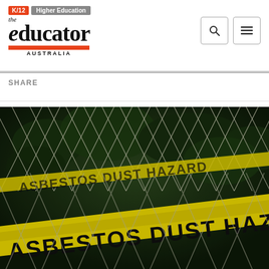K/12 | Higher Education — the educator AUSTRALIA
SHARE
[Figure (photo): Close-up photograph of a yellow warning tape reading 'ASBESTOS DUST HAZARD' stretched across a chain-link fence with dark foliage in the background.]